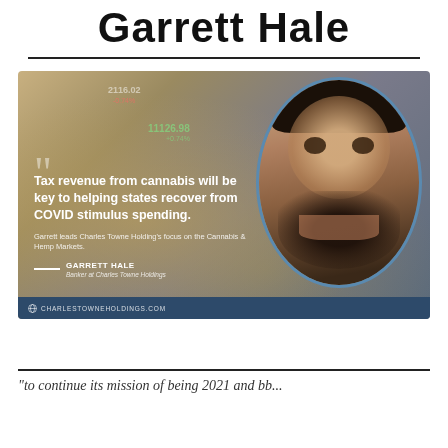Garrett Hale
[Figure (photo): Quote card with photo of Garrett Hale. Quote reads: 'Tax revenue from cannabis will be key to helping states recover from COVID stimulus spending.' Attribution: Garrett Hale, Banker at Charles Towne Holdings. Website: charlestowneholdings.com]
"to continue its mission of being 2021 and bh..."